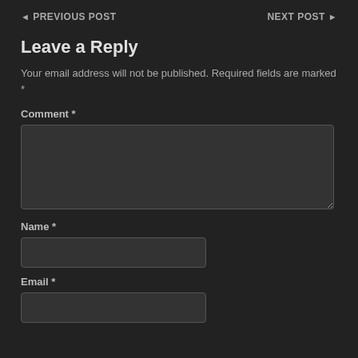◄ PREVIOUS POST    NEXT POST ►
Leave a Reply
Your email address will not be published. Required fields are marked *
Comment *
[Figure (other): Large textarea input box for comment]
Name *
[Figure (other): Text input box for name]
Email *
[Figure (other): Text input box for email]